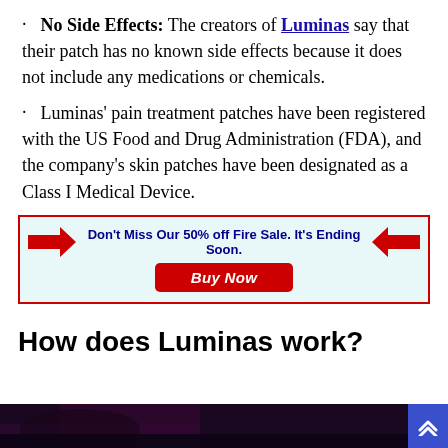No Side Effects: The creators of Luminas say that their patch has no known side effects because it does not include any medications or chemicals.
Luminas' pain treatment patches have been registered with the US Food and Drug Administration (FDA), and the company's skin patches have been designated as a Class I Medical Device.
[Figure (infographic): Advertisement banner with red border and light teal background. Red arrows pointing inward on both sides. Bold blue text: Don't Miss Our 50% off Fire Sale. It's Ending Soon. Red Buy Now button below.]
How does Luminas work?
[Figure (photo): Partial dark photo at bottom of page, appearing to show a person, with dark purple/magenta tones.]